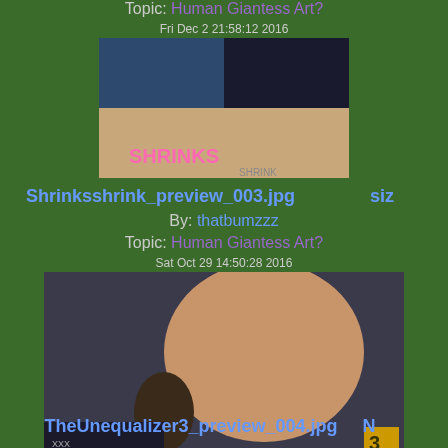Topic: Human Giantess Art?
Fri Dec 2 21:58:12 2016
[Figure (photo): Thumbnail image for Shrinksshrink_preview_003.jpg showing comic art with text SHRINKS]
Shrinksshrink_preview_003.jpg  siz
By: thatbumzzz
Topic: Human Giantess Art?
Sat Oct 29 14:50:28 2016
[Figure (photo): Thumbnail image for TheUnequalizer3_preview_004.jpg showing 3D rendered comic art]
TheUnequalizer3_preview_004.jpg  N